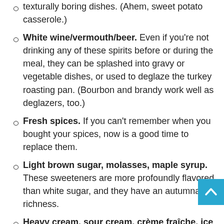texturally boring dishes. (Ahem, sweet potato casserole.)
White wine/vermouth/beer. Even if you’re not drinking any of these spirits before or during the meal, they can be splashed into gravy or vegetable dishes, or used to deglaze the turkey roasting pan. (Bourbon and brandy work well as deglazers, too.)
Fresh spices. If you can’t remember when you bought your spices, now is a good time to replace them.
Light brown sugar, molasses, maple syrup. These sweeteners are more profoundly flavored than white sugar, and they have an autumnal richness.
Heavy cream, sour cream, crème fraîche, ice cream. You’ll need these for topping pies and cakes.
Please, wear a mask. It protects both yourself and others from coronavirus, and aim to maintain several feet of distance from other shoppers in stores whenever possible. If you opt for grocery delivery, tip so...